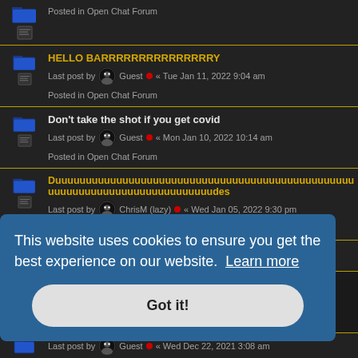Posted in Open Chat Forum
HELLO BARRRRRRRRRRRRRRRY
Last post by Guest « Tue Jan 11, 2022 9:04 am
Posted in Open Chat Forum
Don't take the shot if you get covid
Last post by Guest « Mon Jan 10, 2022 10:14 am
Posted in Open Chat Forum
Duuuuuuuuuuuuuuuuuuuuuuuuuuuuuuuuuuuuuuuuuuuuuuuuuuuuuuuuuuuuuuuuuuuuuuuuuuuudes
Last post by ChrisM (lazy) « Wed Jan 05, 2022 9:30 pm
Posted in Open Chat Forum
I am Gunnar
This website uses cookies to ensure you get the best experience on our website. Learn more
Got it!
Last post by Guest « Wed Dec 22, 2021 3:08 am